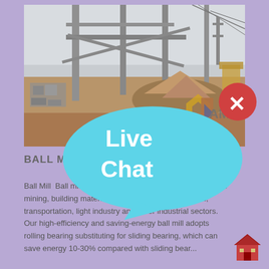[Figure (photo): Industrial construction site photo showing steel framework, piles of ore/gravel, and machinery. AMC hexagonal logo watermark visible in lower right of photo. Live Chat bubble overlay in top right corner.]
BALL MILL | BSME
Ball Mill  Ball mill is widely used in black, non-ferrous metal mining, building materials, chemicals, electricity, coal, transportation, light industry and other industrial sectors. Our high-efficiency and saving-energy ball mill adopts rolling bearing substituting for sliding bearing, which can save energy 10-30% compared with sliding bear...